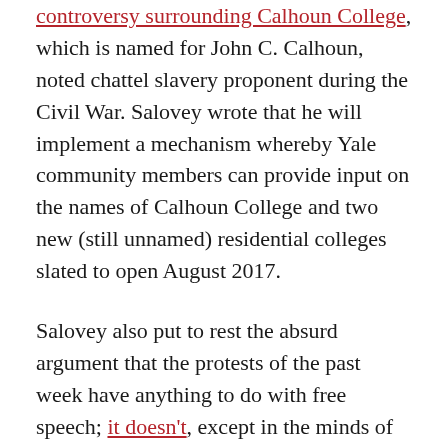controversy surrounding Calhoun College, which is named for John C. Calhoun, noted chattel slavery proponent during the Civil War. Salovey wrote that he will implement a mechanism whereby Yale community members can provide input on the names of Calhoun College and two new (still unnamed) residential colleges slated to open August 2017.
Salovey also put to rest the absurd argument that the protests of the past week have anything to do with free speech; it doesn't, except in the minds of those who are fundamentally opposed to discussions of diversity and inclusion.